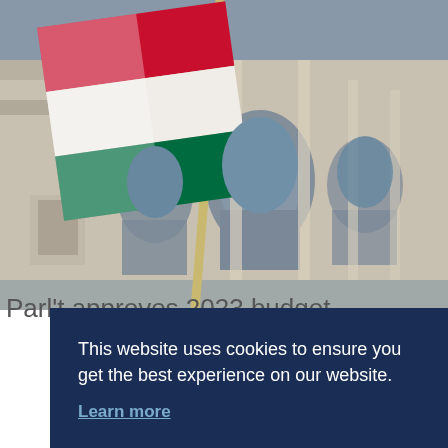[Figure (photo): Photograph of the Hungarian Parliament building with the Hungarian flag (red, white, green stripes) waving in the foreground. The ornate stone building features arched windows and columns visible behind the flag.]
Parl't approves 2023 budget
This website uses cookies to ensure you get the best experience on our website.
Learn more
Decline
Allow cookies